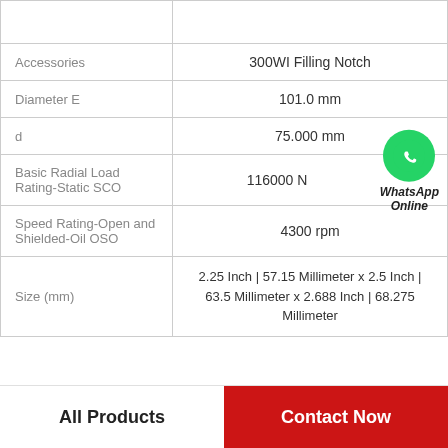| Property | Value |
| --- | --- |
|  |  |
| Accessories | 300WI Filling Notch |
| Diameter E | 101.0 mm |
| d | 75.000 mm |
| Basic Radial Load Rating-Static SCO | 116000 N |
| Speed Rating-Open and Shielded-Oil OSO | 4300 rpm |
| Size (mm) | 2.25 Inch | 57.15 Millimeter x 2.5 Inch | 63.5 Millimeter x 2.688 Inch | 68.275 Millimeter |
WhatsApp Online
All Products   Contact Now